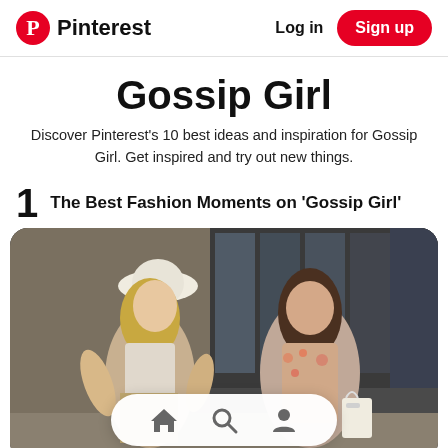Pinterest  Log in  Sign up
Gossip Girl
Discover Pinterest's 10 best ideas and inspiration for Gossip Girl. Get inspired and try out new things.
1  The Best Fashion Moments on 'Gossip Girl'
[Figure (photo): Two young women from Gossip Girl TV show standing outdoors. The blonde woman on the left wears a white hat and green necklace. The brunette on the right wears a floral dress and statement necklace. A mobile navigation bar with home, search, and profile icons is overlaid at the bottom of the image.]